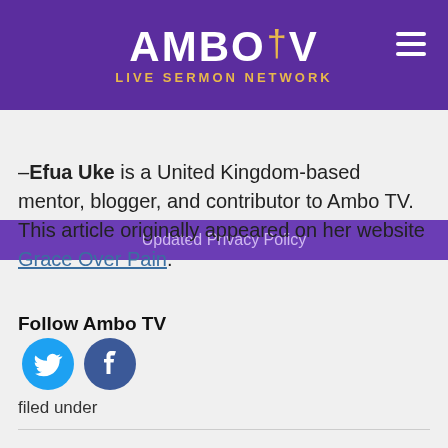AMBO TV LIVE SERMON NETWORK
Updated Privacy Policy
–Efua Uke is a United Kingdom-based mentor, blogger, and contributor to Ambo TV. This article originally appeared on her website Grace Over Pain.
Follow Ambo TV
[Figure (other): Twitter and Facebook social media icon buttons]
filed under